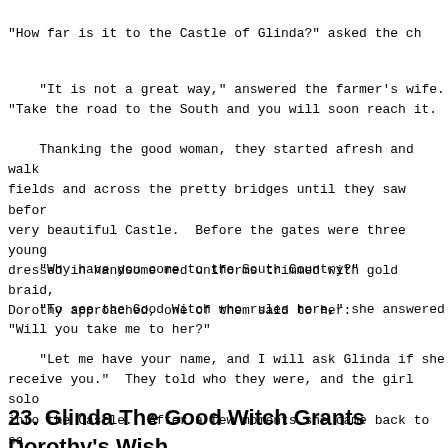"How far is it to the Castle of Glinda?" asked the ch
"It is not a great way," answered the farmer's wife. "Take the road to the South and you will soon reach it.
Thanking the good woman, they started afresh and walk fields and across the pretty bridges until they saw befor very beautiful Castle.  Before the gates were three young dressed in handsome red uniforms trimmed with gold braid, Dorothy approached, one of them said to her:
"Why have you come to the South Country?"
"To see the Good Witch who rules here," she answered "Will you take me to her?"
"Let me have your name, and I will ask Glinda if she receive you."  They told who they were, and the girl solo into the Castle.  After a few moments she came back to sa Dorothy and the others were to be admitted at once.
23. Glinda The Good Witch Grants Dorothy's Wish